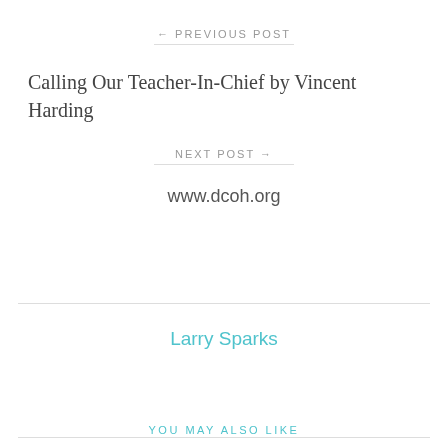← PREVIOUS POST
Calling Our Teacher-In-Chief by Vincent Harding
NEXT POST →
www.dcoh.org
Larry Sparks
YOU MAY ALSO LIKE